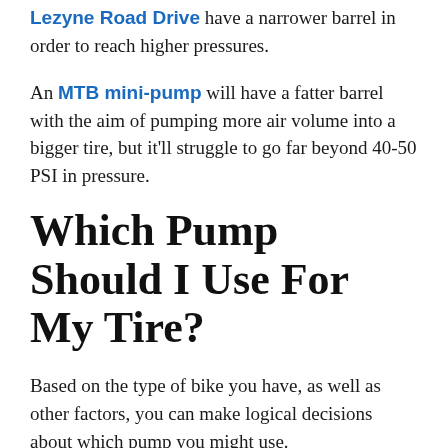Lezyne Road Drive have a narrower barrel in order to reach higher pressures.
An MTB mini-pump will have a fatter barrel with the aim of pumping more air volume into a bigger tire, but it'll struggle to go far beyond 40-50 PSI in pressure.
Which Pump Should I Use For My Tire?
Based on the type of bike you have, as well as other factors, you can make logical decisions about which pump you might use.